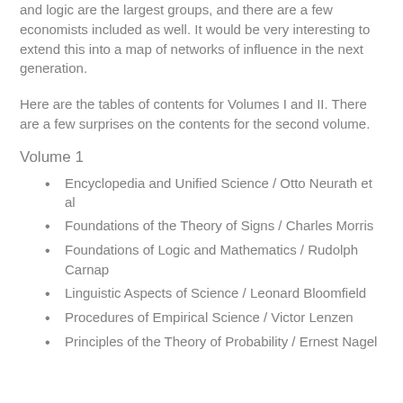and logic are the largest groups, and there are a few economists included as well. It would be very interesting to extend this into a map of networks of influence in the next generation.
Here are the tables of contents for Volumes I and II. There are a few surprises on the contents for the second volume.
Volume 1
Encyclopedia and Unified Science / Otto Neurath et al
Foundations of the Theory of Signs / Charles Morris
Foundations of Logic and Mathematics / Rudolph Carnap
Linguistic Aspects of Science / Leonard Bloomfield
Procedures of Empirical Science / Victor Lenzen
Principles of the Theory of Probability / Ernest Nagel